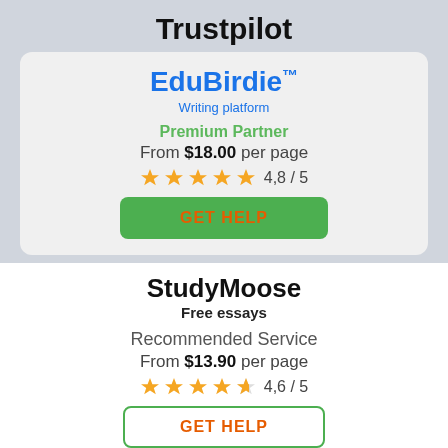Trustpilot
EduBirdie™
Writing platform
Premium Partner
From $18.00 per page
4,8 / 5
GET HELP
StudyMoose
Free essays
Recommended Service
From $13.90 per page
4,6 / 5
GET HELP